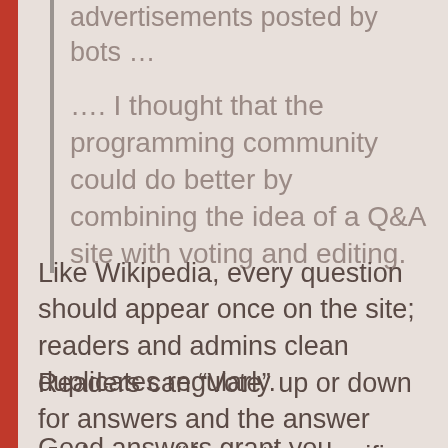advertisements posted by bots …
…. I thought that the programming community could do better by combining the idea of a Q&A site with voting and editing.
Like Wikipedia, every question should appear once on the site; readers and admins clean duplicates regularly.
Readers can “Vote” up or down for answers and the answer seeker can “Accept” a specific answer
Good answers grant you reputation “badges” as